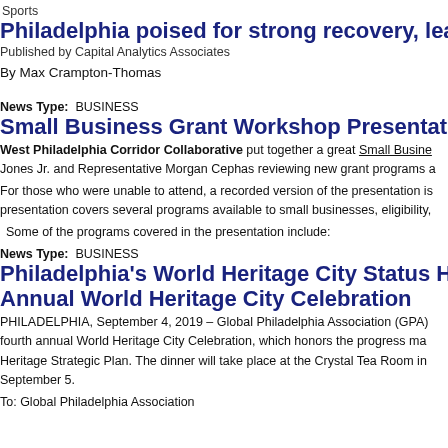Sports
Philadelphia poised for strong recovery, lea
Published by Capital Analytics Associates
By Max Crampton-Thomas
News Type:  BUSINESS
Small Business Grant Workshop Presentat
West Philadelphia Corridor Collaborative put together a great Small Busine
Jones Jr. and Representative Morgan Cephas reviewing new grant programs a
For those who were unable to attend, a recorded version of the presentation is
presentation covers several programs available to small businesses, eligibility,
Some of the programs covered in the presentation include:
News Type:  BUSINESS
Philadelphia's World Heritage City Status H
Annual World Heritage City Celebration
PHILADELPHIA, September 4, 2019 – Global Philadelphia Association (GPA)
fourth annual World Heritage City Celebration, which honors the progress ma
Heritage Strategic Plan. The dinner will take place at the Crystal Tea Room in
September 5.
To: Global Philadelphia Association